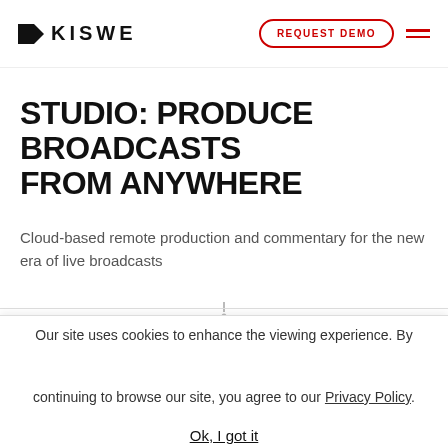KISWE | REQUEST DEMO
STUDIO: PRODUCE BROADCASTS FROM ANYWHERE
Cloud-based remote production and commentary for the new era of live broadcasts
Our site uses cookies to enhance the viewing experience. By continuing to browse our site, you agree to our Privacy Policy.
Ok, I got it